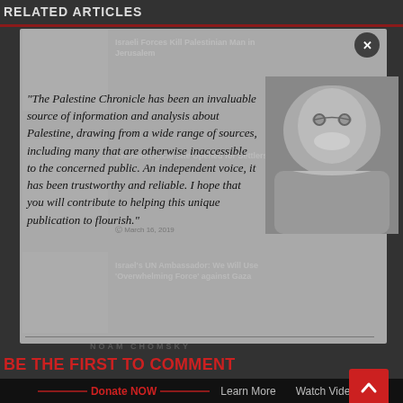RELATED ARTICLES
[Figure (screenshot): Website screenshot showing a modal overlay on a news website (Palestine Chronicle). The modal contains a quote by Noam Chomsky praising the Palestine Chronicle. In the background, article thumbnails and headlines are partially visible including 'Israeli Forces Kill Palestinian Man in Jerusalem', 'Archaeological Site Opened for Settlers Only', and 'Israel's UN Ambassador: We Will Use Overwhelming Force against Gaza'.]
"The Palestine Chronicle has been an invaluable source of information and analysis about Palestine, drawing from a wide range of sources, including many that are otherwise inaccessible to the concerned public. An independent voice, it has been trustworthy and reliable. I hope that you will contribute to helping this unique publication to flourish."
NOAM CHOMSKY
BE THE FIRST TO COMMENT
Donate NOW    Learn More    Watch Video
(The Palestine Chronicle is a registered 501(c)3 organization, thus, all donations are tax deductible.)
Leave a Reply